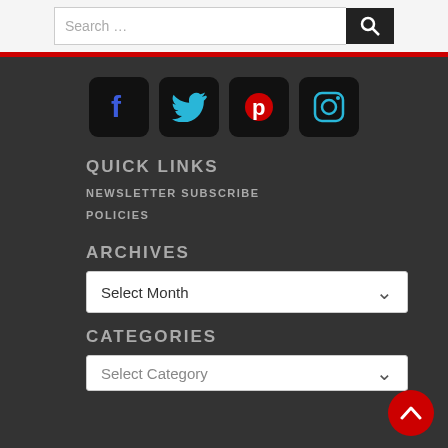Search …
[Figure (infographic): Social media icons: Facebook, Twitter, Pinterest, Instagram]
QUICK LINKS
NEWSLETTER SUBSCRIBE
POLICIES
ARCHIVES
Select Month
CATEGORIES
Select Category